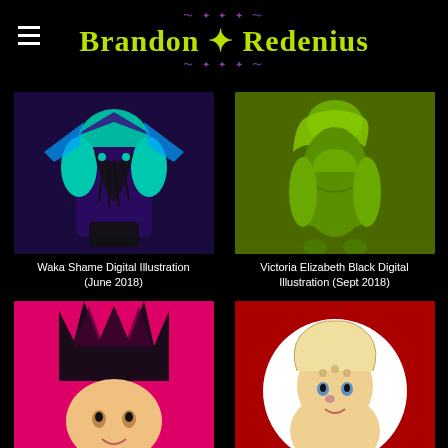Brandon Redenius
[Figure (illustration): Digital illustration of a figure with teal/cyan hands laced together over a dark purple corset-style outfit with wing-like shoulder pieces]
Waka Shame Digital Illustration (June 2018)
[Figure (illustration): Digital illustration of a green-skinned female figure in a matching green outfit, posed with hands on hips]
Victoria Elizabeth Black Digital Illustration (Sept 2018)
[Figure (illustration): Digital illustration on pink background showing a figure wearing a dark crown, partially visible from the bottom]
[Figure (illustration): Digital illustration on red background with a white circle containing a blonde female figure, partially visible]